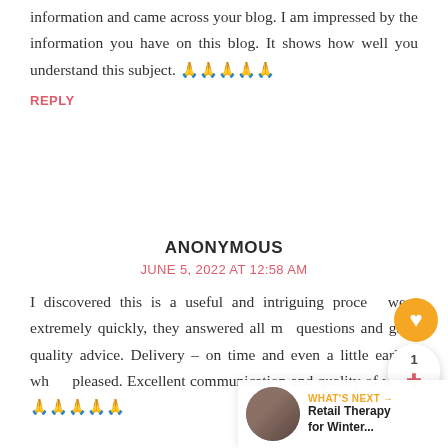information and came across your blog. I am impressed by the information you have on this blog. It shows how well you understand this subject. 🙏🙏🙏🙏🙏
REPLY
ANONYMOUS
JUNE 5, 2022 AT 12:58 AM
I discovered this is a useful and intriguing process, went extremely quickly, they answered all my questions and gave quality advice. Delivery – on time and even a little earlier, which pleased. Excellent communication and quality of work. 🙏🙏🙏🙏🙏